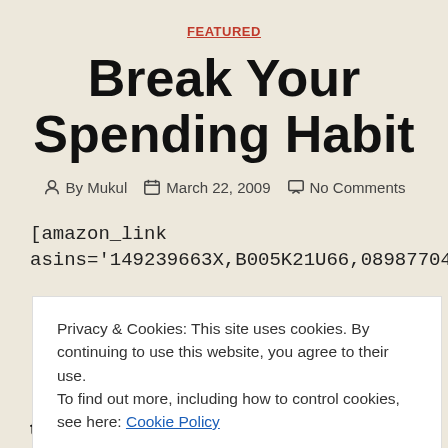FEATURED
Break Your Spending Habit
By Mukul   March 22, 2009   No Comments
[amazon_link asins='149239663X,B005K21U66,0898770408,B07111
Privacy & Cookies: This site uses cookies. By continuing to use this website, you agree to their use. To find out more, including how to control cookies, see here: Cookie Policy
CLOSE AND ACCEPT
that bad habit to rest: